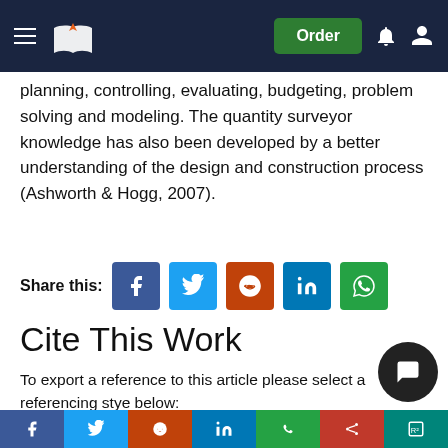Order
planning, controlling, evaluating, budgeting, problem solving and modeling. The quantity surveyor knowledge has also been developed by a better understanding of the design and construction process (Ashworth & Hogg, 2007).
Share this:
Cite This Work
To export a reference to this article please select a referencing stye below:
APA  MLA  MLA 7  Harvard  Vancouver  Wikipedia  OSCOLA